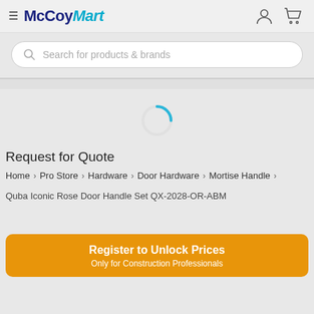McCoyMart
Search for products & brands
[Figure (other): Loading spinner — blue circular arc indicating page loading]
Request for Quote
Home > Pro Store > Hardware > Door Hardware > Mortise Handle >
Quba Iconic Rose Door Handle Set QX-2028-OR-ABM
Register to Unlock Prices
Only for Construction Professionals